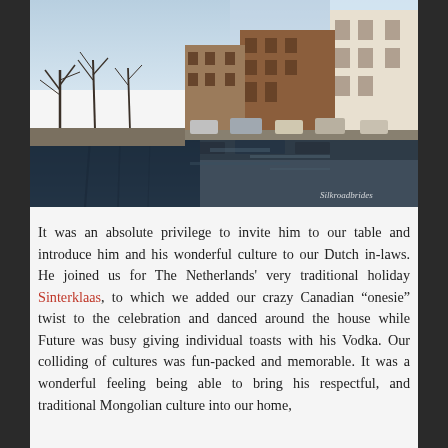[Figure (photo): A Dutch canal scene photographed during daytime. The canal reflects buildings and bare trees along the waterside. Boats are moored along the quay, with cars parked on the street. Buildings line the right side. A watermark/signature appears in the bottom right corner.]
It was an absolute privilege to invite him to our table and introduce him and his wonderful culture to our Dutch in-laws. He joined us for The Netherlands' very traditional holiday Sinterklaas, to which we added our crazy Canadian “onesie” twist to the celebration and danced around the house while Future was busy giving individual toasts with his Vodka. Our colliding of cultures was fun-packed and memorable. It was a wonderful feeling being able to bring his respectful, and traditional Mongolian culture into our home,